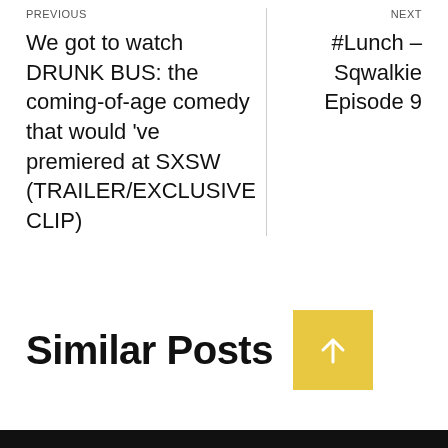We got to watch DRUNK BUS: the coming-of-age comedy that would 've premiered at SXSW (TRAILER/EXCLUSIVE CLIP)
#Lunch – Sqwalkie Episode 9
Similar Posts
[Figure (other): Yellow square button with white upward arrow icon]